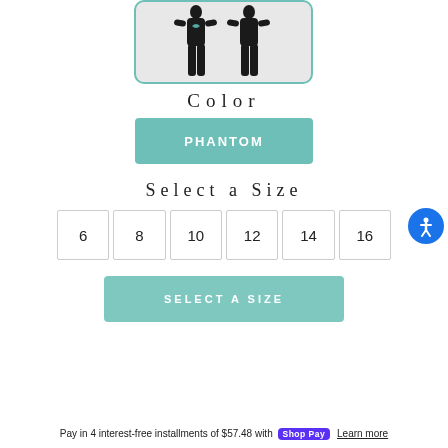[Figure (photo): Two people wearing black wetsuits, shown from neck to feet, displayed side by side inside a rounded teal-bordered box]
Color
PHANTOM
Select a Size
6
8
10
12
14
16
SELECT A SIZE
Pay in 4 interest-free installments of $57.48 with Shop Pay  Learn more